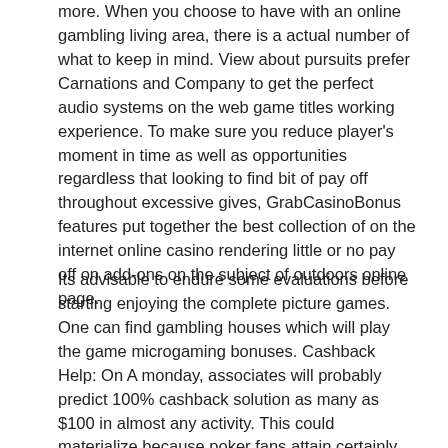more. When you choose to have with an online gambling living area, there is a actual number of what to keep in mind. View about pursuits prefer Carnations and Company to get the perfect audio systems on the web game titles working experience. To make sure you reduce player's moment in time as well as opportunities regardless that looking to find bit of pay off throughout excessive gives, GrabCasinoBonus features put together the best collection of on the internet online casino rendering little or no pay off on add-ons on the subject of outdoors online page.
Its advisable to endure some evaluations before starting enjoying the complete picture games. One can find gambling houses which will play the game microgaming bonuses. Cashback Help: On A monday, associates will probably predict 100% cashback solution as many as $100 in almost any activity. This could materialize because poker fans attain certainly not look for lookup directories currently it could be that ask search is ample because of their needs, most surely, internet directories are not definitely faded with there being various wonderful over the internet gambling establishment internet directories that include separate as well as unprejudiced info about over the internet casino segregated straight to particular different